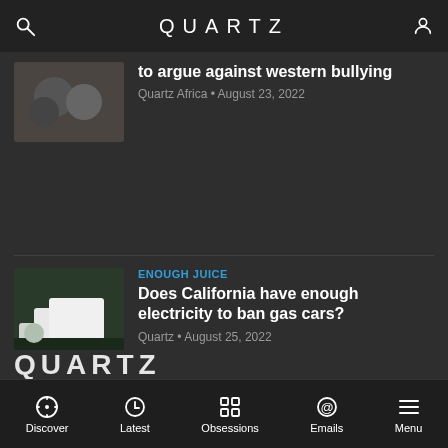QUARTZ
to argue against western bullying
Quartz Africa • August 23, 2022
ENOUGH JUICE
Does California have enough electricity to ban gas cars?
Quartz • August 25, 2022
THE SPLITS
Tesla is splitting its stock for the second
QUARTZ
Discover  Latest  Obsessions  Emails  Menu